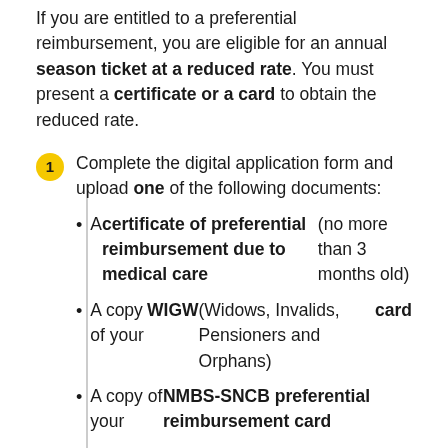If you are entitled to a preferential reimbursement, you are eligible for an annual season ticket at a reduced rate. You must present a certificate or a card to obtain the reduced rate.
Complete the digital application form and upload one of the following documents: A certificate of preferential reimbursement due to medical care (no more than 3 months old); A copy of your WIGW (Widows, Invalids, Pensioners and Orphans) card; A copy of your NMBS-SNCB preferential reimbursement card
We'll check your details and send you an email with payment instructions.
Click on the link in the email and pay for your